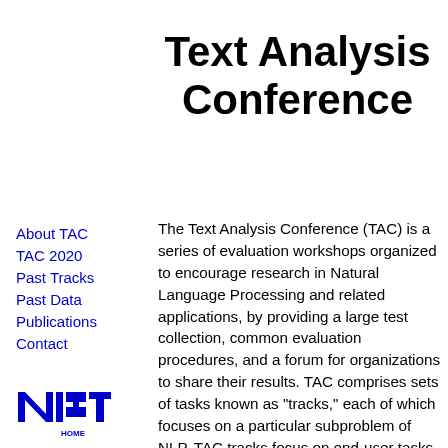Text Analysis Conference
About TAC
TAC 2020
Past Tracks
Past Data
Publications
Contact
[Figure (logo): NIST logo in blue with HOME text below]
The Text Analysis Conference (TAC) is a series of evaluation workshops organized to encourage research in Natural Language Processing and related applications, by providing a large test collection, common evaluation procedures, and a forum for organizations to share their results. TAC comprises sets of tasks known as "tracks," each of which focuses on a particular subproblem of NLP. TAC tracks focus on end-user tasks, but also include component evaluations situated within the context of end-user tasks.